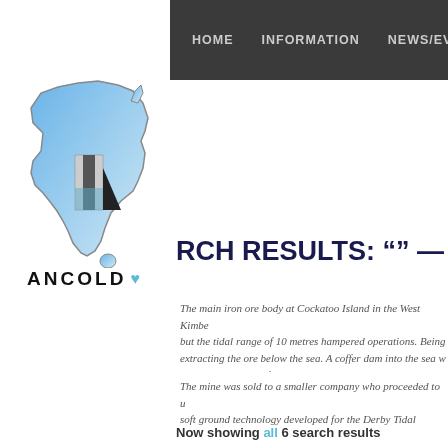HOME    INFORMATION    NEWS/EVENTS
[Figure (logo): ANCOLD logo with Australia map outline and dam icon]
RCH RESULTS: "" —
The main iron ore body at Cockatoo Island in the West Kimbe... but the tidal range of 10 metres hampered operations. Being... extracting the ore below the sea. A coffer dam into the sea w... groundwater in the foundation posed a major risk and high co...
The mine was sold to a smaller company who proceeded to u... soft ground technology developed for the Derby Tidal Power... investigated.
The paper describes the design processes involved to achiev... ore that could be accessed. A key to the process was the de... range. Timing aspects were crucial and were controlled by o...
Now showing all 6 search results